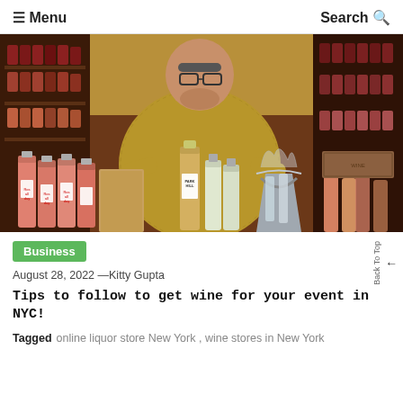≡ Menu    Search Q
[Figure (photo): A man wearing glasses and a yellow-green checkered shirt stands behind a table full of wine bottles (rosé) and spirits in a liquor store. Wine bottle shelves visible in the background.]
Business
August 28, 2022 —Kitty Gupta
Tips to follow to get wine for your event in NYC!
Tagged online liquor store New York , wine stores in New York